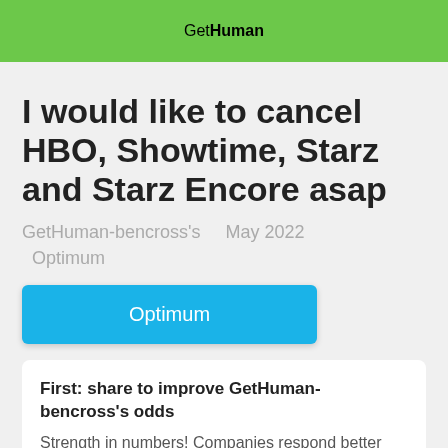GetHuman
I would like to cancel HBO, Showtime, Starz and Starz Encore asap
GetHuman-bencross's    May 2022
  Optimum
[Figure (other): Blue button labeled 'Optimum']
First: share to improve GetHuman-bencross's odds
Strength in numbers! Companies respond better